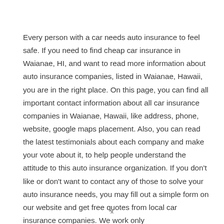Every person with a car needs auto insurance to feel safe. If you need to find cheap car insurance in Waianae, HI, and want to read more information about auto insurance companies, listed in Waianae, Hawaii, you are in the right place. On this page, you can find all important contact information about all car insurance companies in Waianae, Hawaii, like address, phone, website, google maps placement. Also, you can read the latest testimonials about each company and make your vote about it, to help people understand the attitude to this auto insurance organization. If you don't like or don't want to contact any of those to solve your auto insurance needs, you may fill out a simple form on our website and get free quotes from local car insurance companies. We work only
x